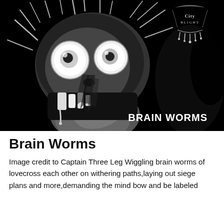[Figure (illustration): Black and white horror illustration of a skull-like creature with large bulging eyeballs, jagged teeth, wild hair-like protrusions, and a hand raised near its jaw. In the upper right corner is a small ornate band logo. In the lower right of the image, bold white text reads 'BRAIN WORMS'.]
Brain Worms
Image credit to Captain Three Leg Wiggling brain worms of lovecross each other on withering paths,laying out siege plans and more,demanding the mind bow and be labeled